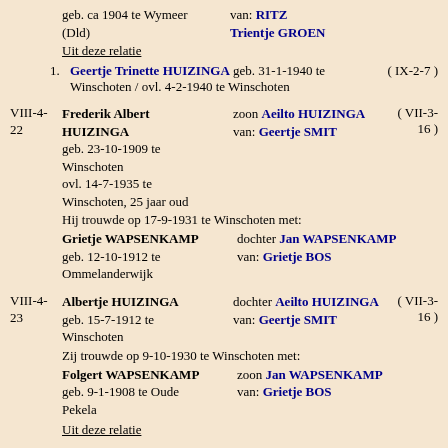geb. ca 1904 te Wymeer (Dld)   van: RITZ  Trientje GROEN
Uit deze relatie
1. Geertje Trinette HUIZINGA geb. 31-1-1940 te Winschoten / ovl. 4-2-1940 te Winschoten ( IX-2-7 )
VIII-4-22  Frederik Albert HUIZINGA  geb. 23-10-1909 te Winschoten  ovl. 14-7-1935 te Winschoten, 25 jaar oud  zoon Aeilto HUIZINGA van: Geertje SMIT ( VII-3-16 )
Hij trouwde op 17-9-1931 te Winschoten met:
Grietje WAPSENKAMP  geb. 12-10-1912 te Ommelanderwijk  dochter Jan WAPSENKAMP van: Grietje BOS
VIII-4-23  Albertje HUIZINGA  geb. 15-7-1912 te Winschoten  dochter Aeilto HUIZINGA van: Geertje SMIT ( VII-3-16 )
Zij trouwde op 9-10-1930 te Winschoten met:
Folgert WAPSENKAMP  geb. 9-1-1908 te Oude Pekela  zoon Jan WAPSENKAMP van: Grietje BOS
Uit deze relatie